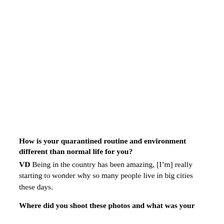How is your quarantined routine and environment different than normal life for you?
VD Being in the country has been amazing, [I'm] really starting to wonder why so many people live in big cities these days.
Where did you shoot these photos and what was your